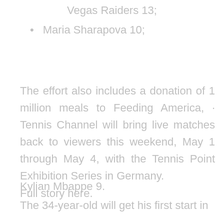Vegas Raiders 13;
Maria Sharapova 10;
The effort also includes a donation of 1 million meals to Feeding America, · Tennis Channel will bring live matches back to viewers this weekend, May 1 through May 4, with the Tennis Point Exhibition Series in Germany.
Full story here.
Kylian Mbappe 9.
The 34-year-old will get his first start in